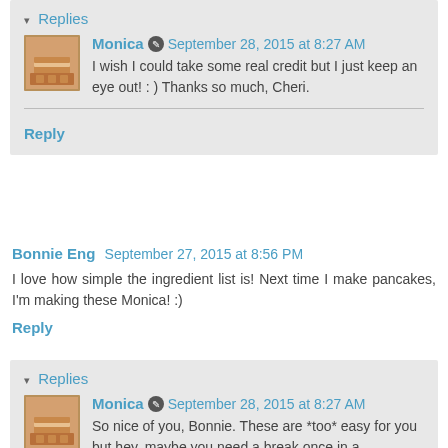▾ Replies
Monica   September 28, 2015 at 8:27 AM
I wish I could take some real credit but I just keep an eye out! : ) Thanks so much, Cheri.
Reply
Bonnie Eng   September 27, 2015 at 8:56 PM
I love how simple the ingredient list is! Next time I make pancakes, I'm making these Monica! :)
Reply
▾ Replies
Monica   September 28, 2015 at 8:27 AM
So nice of you, Bonnie. These are *too* easy for you but hey, maybe you need a break once in a while :)